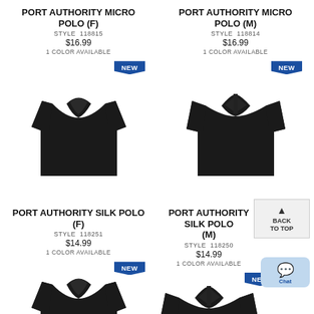PORT AUTHORITY MICRO POLO (F)
STYLE 118815
$16.99
1 COLOR AVAILABLE
[Figure (photo): Black women's polo shirt with NEW badge]
PORT AUTHORITY MICRO POLO (M)
STYLE 118814
$16.99
1 COLOR AVAILABLE
[Figure (photo): Black men's polo shirt with NEW badge]
PORT AUTHORITY SILK POLO (F)
STYLE 118251
$14.99
1 COLOR AVAILABLE
[Figure (photo): Black women's silk polo shirt with NEW badge, partially visible]
PORT AUTHORITY SILK POLO (M)
STYLE 118250
$14.99
1 COLOR AVAILABLE
[Figure (photo): Black men's silk polo shirt with NEW badge, partially visible]